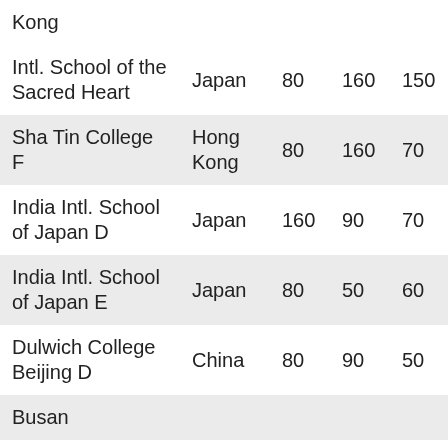| School | Country | Col3 | Col4 | Col5 | Col6 |
| --- | --- | --- | --- | --- | --- |
| Kong |  |  |  |  |  |
| Intl. School of the Sacred Heart | Japan | 80 | 160 | 150 | 140 |
| Sha Tin College F | Hong Kong | 80 | 160 | 70 | 150 |
| India Intl. School of Japan D | Japan | 160 | 90 | 70 | 120 |
| India Intl. School of Japan E | Japan | 80 | 50 | 60 | 120 |
| Dulwich College Beijing D | China | 80 | 90 | 50 | 90 |
| Busan |  |  |  |  |  |